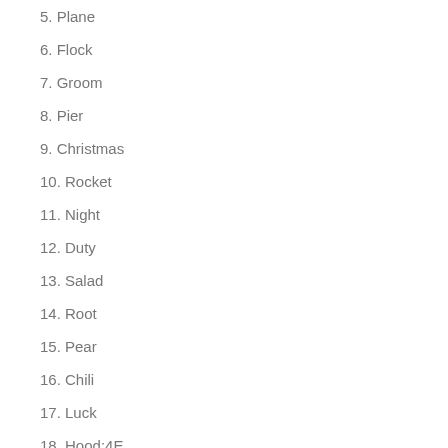5. Plane
6. Flock
7. Groom
8. Pier
9. Christmas
10. Rocket
11. Night
12. Duty
13. Salad
14. Root
15. Pear
16. Chili
17. Luck
18. Hood:4E
19. Blue
20. Caramel
4 Pics 1 Word Impossible Game Answers Level 2
1. Window